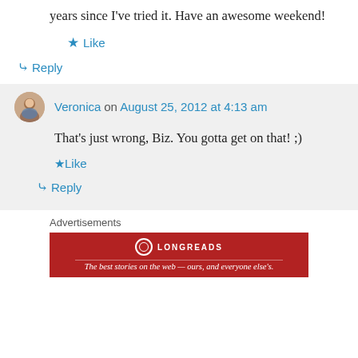years since I've tried it. Have an awesome weekend!
Like
Reply
Veronica on August 25, 2012 at 4:13 am
That's just wrong, Biz. You gotta get on that! ;)
Like
Reply
Advertisements
[Figure (infographic): Longreads advertisement banner on red background with logo and tagline: The best stories on the web — ours, and everyone else's.]